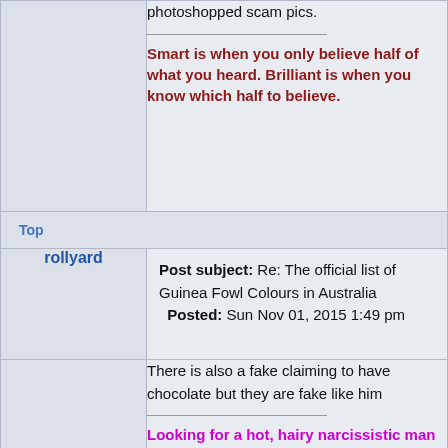photoshopped scam pics.
Smart is when you only believe half of what you heard. Brilliant is when you know which half to believe.
Top
Post subject: Re: The official list of Guinea Fowl Colours in Australia  Posted: Sun Nov 01, 2015 1:49 pm
rollyard
There is also a fake claiming to have chocolate but they are fake like him
Looking for a hot, hairy narcissistic man
Original google breeder